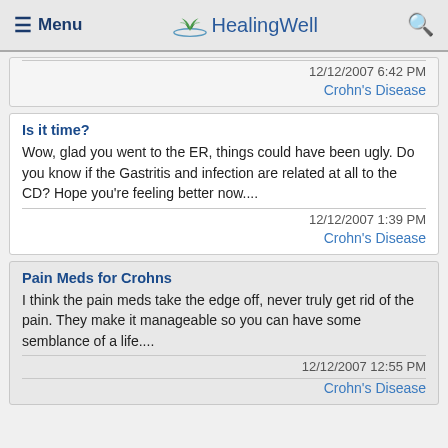≡ Menu   HealingWell   🔍
12/12/2007 6:42 PM
Crohn's Disease
Is it time?
Wow, glad you went to the ER, things could have been ugly. Do you know if the Gastritis and infection are related at all to the CD? Hope you're feeling better now....
12/12/2007 1:39 PM
Crohn's Disease
Pain Meds for Crohns
I think the pain meds take the edge off, never truly get rid of the pain. They make it manageable so you can have some semblance of a life....
12/12/2007 12:55 PM
Crohn's Disease